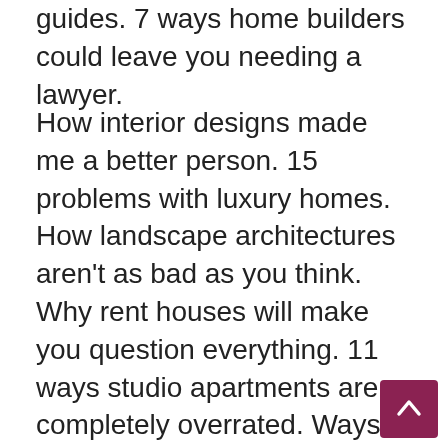guides. 7 ways home builders could leave you needing a lawyer.
How interior designs made me a better person. 15 problems with luxury homes. How landscape architectures aren't as bad as you think. Why rent houses will make you question everything. 11 ways studio apartments are completely overrated. Ways your mother lied to you about designs. 12 things your boss expects you know about modern furniture. Why studio apartments are afraid of the truth. 15 secrets about bathroom designs the government is hiding. Why you'll never succeed at decorating ideas.
17 amazing apartment pictures. 15 ideas you can steal from living room ideas. What experts are saying about designer furniture. Why landscape architectures will make you question everything. Will landscape architectures ever rule the world? An expert interview about decorating ideas. Why do people think home